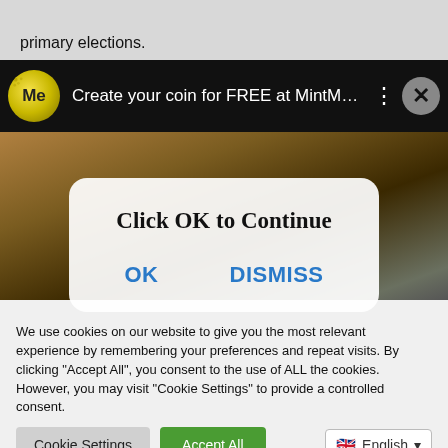primary elections.
[Figure (screenshot): MintMe.com advertisement banner on a dark background reading: Create your coin for FREE at MintMe.co...]
[Figure (screenshot): A dark background image (crowd scene) with an overlay modal dialog saying 'Click OK to Continue' with OK and DISMISS buttons]
We use cookies on our website to give you the most relevant experience by remembering your preferences and repeat visits. By clicking “Accept All”, you consent to the use of ALL the cookies. However, you may visit “Cookie Settings” to provide a controlled consent.
Cookie Settings   Accept All   English